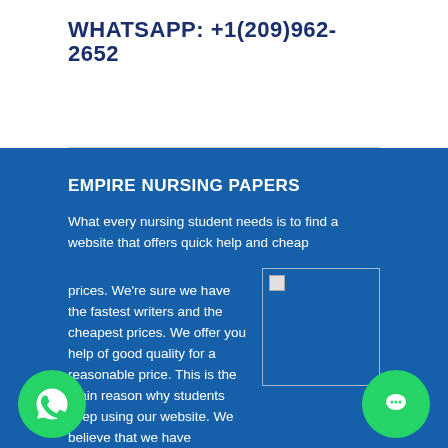WHATSAPP: +1(209)962-2652
EMPIRE NURSING PAPERS
What every nursing student needs is to find a website that offers quick help and cheap
prices. We're sure we have the fastest writers and the cheapest prices. We offer you help of good quality for a reasonable price. This is the main reason why students keep using our website. We believe that we have completed enough orders to find out what every client needs and how we can help him or her as best we can.
[Figure (photo): Broken/loading image placeholder in the right column of the blue section]
[Figure (logo): WhatsApp green circle button with phone icon, bottom left]
[Figure (logo): Green chat circle button, bottom right]